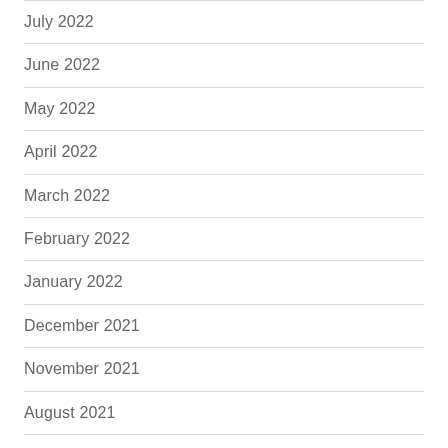July 2022
June 2022
May 2022
April 2022
March 2022
February 2022
January 2022
December 2021
November 2021
August 2021
July 2021